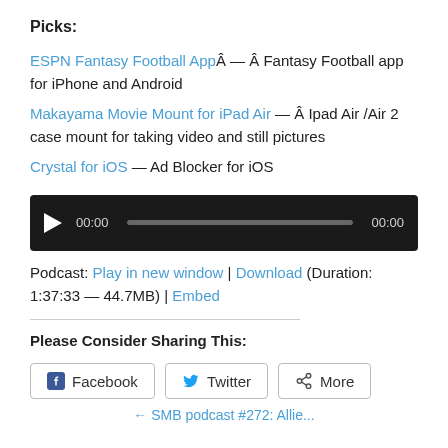Picks:
ESPN Fantasy Football AppÂ — Â Fantasy Football app for iPhone and Android
Makayama Movie Mount for iPad Air — Â Ipad Air /Air 2 case mount for taking video and still pictures
Crystal for iOS — Ad Blocker for iOS
[Figure (other): Audio player widget with play button, time display 00:00, progress bar, and end time 00:00 on dark background]
Podcast: Play in new window | Download (Duration: 1:37:33 — 44.7MB) | Embed
Please Consider Sharing This:
[Figure (other): Social share buttons: Facebook, Twitter, More]